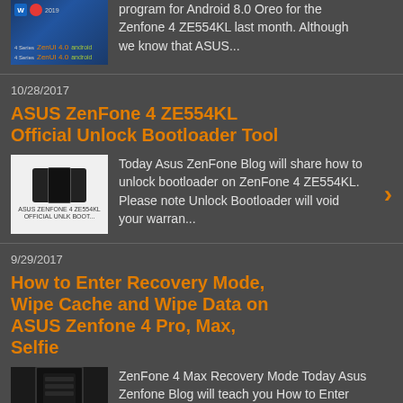[Figure (screenshot): Thumbnail image of ASUS ZenFone blog post with series logos]
program for Android 8.0 Oreo for the Zenfone 4 ZE554KL last month. Although we know that ASUS...
10/28/2017
ASUS ZenFone 4 ZE554KL Official Unlock Bootloader Tool
[Figure (screenshot): Thumbnail showing ZenFone 4 ZE554KL official unlock bootloader tool image]
Today Asus ZenFone Blog will share how to unlock bootloader on ZenFone 4 ZE554KL. Please note Unlock Bootloader will void your warran...
9/29/2017
How to Enter Recovery Mode, Wipe Cache and Wipe Data on ASUS Zenfone 4 Pro, Max, Selfie
[Figure (screenshot): Thumbnail showing dark recovery mode screen on ASUS ZenFone]
ZenFone 4 Max Recovery Mode Today Asus Zenfone Blog will teach you How to Enter Recovery Mode, Wipe Data via recovery and Wipe Cach...